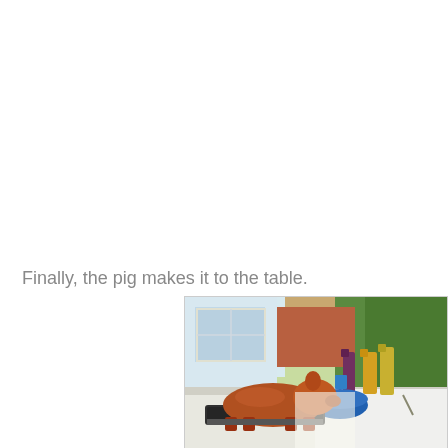Finally, the pig makes it to the table.
[Figure (photo): A roasted whole pig on a metal grill tray on a table outdoors. Behind it is a blue bowl, bottles of sauce, and a sunny backyard scene with a brick house and trees in the background.]